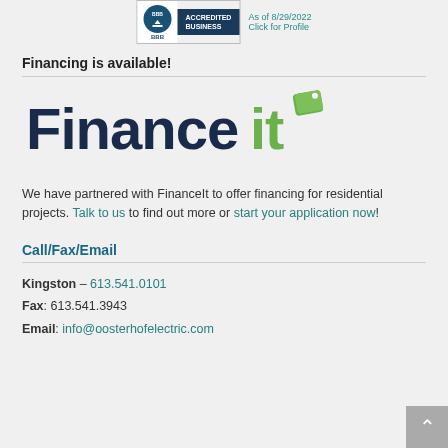[Figure (logo): BBB Accredited Business badge with seal, 'As of 8/29/2022' and 'Click for Profile' text in teal]
Financing is available!
[Figure (logo): FinanceIt logo — 'Finance' in dark navy bold text, 'it' in green with a green tag icon]
We have partnered with FinanceIt to offer financing for residential projects. Talk to us to find out more or start your application now!
Call/Fax/Email
Kingston – 613.541.0101
Fax: 613.541.3943
Email: info@oosterhofelectric.com